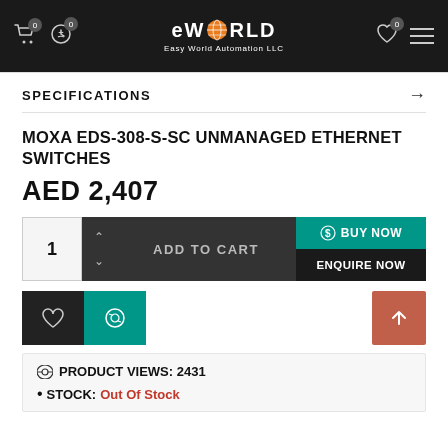eWORLD Easy World Automation LLC
SPECIFICATIONS →
MOXA EDS-308-S-SC UNMANAGED ETHERNET SWITCHES
AED 2,407
1  ADD TO CART  BUY NOW  ENQUIRE NOW
PRODUCT VIEWS: 2431
STOCK: Out Of Stock